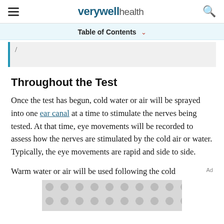verywell health
Table of Contents
Throughout the Test
Once the test has begun, cold water or air will be sprayed into one ear canal at a time to stimulate the nerves being tested. At that time, eye movements will be recorded to assess how the nerves are stimulated by the cold air or water. Typically, the eye movements are rapid and side to side.
Warm water or air will be used following the cold
[Figure (other): Advertisement placeholder with grey repeating circle pattern]